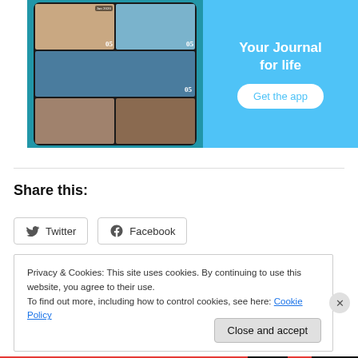[Figure (screenshot): Mobile app advertisement with blue background showing a photo journal app interface on the left side with phone screenshots of photos, and on the right showing text 'Your Journal for life' with a 'Get the app' button]
REPORT THIS AD
Share this:
Twitter
Facebook
Privacy & Cookies: This site uses cookies. By continuing to use this website, you agree to their use. To find out more, including how to control cookies, see here: Cookie Policy
Close and accept